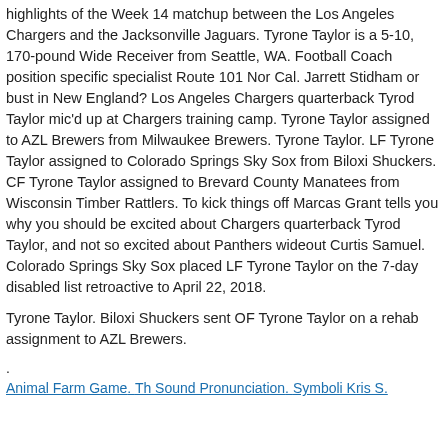highlights of the Week 14 matchup between the Los Angeles Chargers and the Jacksonville Jaguars. Tyrone Taylor is a 5-10, 170-pound Wide Receiver from Seattle, WA. Football Coach position specific specialist Route 101 Nor Cal. Jarrett Stidham or bust in New England? Los Angeles Chargers quarterback Tyrod Taylor mic'd up at Chargers training camp. Tyrone Taylor assigned to AZL Brewers from Milwaukee Brewers. Tyrone Taylor. LF Tyrone Taylor assigned to Colorado Springs Sky Sox from Biloxi Shuckers. CF Tyrone Taylor assigned to Brevard County Manatees from Wisconsin Timber Rattlers. To kick things off Marcas Grant tells you why you should be excited about Chargers quarterback Tyrod Taylor, and not so excited about Panthers wideout Curtis Samuel. Colorado Springs Sky Sox placed LF Tyrone Taylor on the 7-day disabled list retroactive to April 22, 2018.
Tyrone Taylor. Biloxi Shuckers sent OF Tyrone Taylor on a rehab assignment to AZL Brewers.
.
Animal Farm Game. Th Sound Pronunciation. Symboli Kris S.